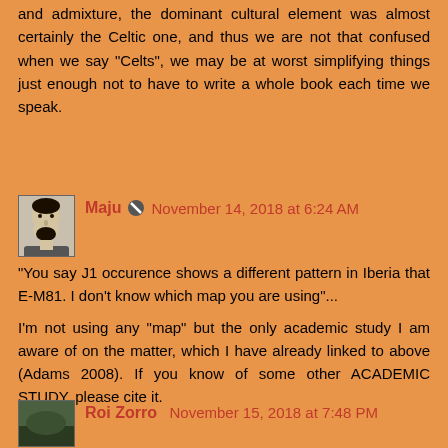and admixture, the dominant cultural element was almost certainly the Celtic one, and thus we are not that confused when we say "Celts", we may be at worst simplifying things just enough not to have to write a whole book each time we speak.
Maju 🚫 November 14, 2018 at 6:24 AM
"You say J1 occurence shows a different pattern in Iberia that E-M81. I don't know which map you are using"...
I'm not using any "map" but the only academic study I am aware of on the matter, which I have already linked to above (Adams 2008). If you know of some other ACADEMIC STUDY, please cite it.
Roi Zorro November 15, 2018 at 7:48 PM